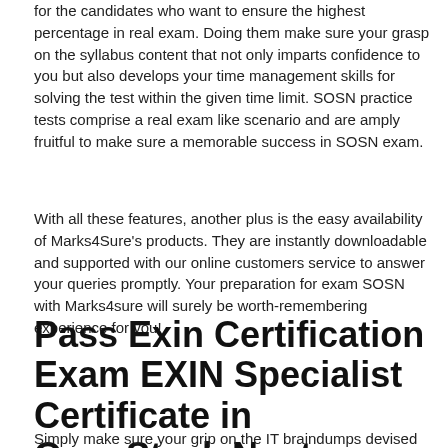for the candidates who want to ensure the highest percentage in real exam. Doing them make sure your grasp on the syllabus content that not only imparts confidence to you but also develops your time management skills for solving the test within the given time limit. SOSN practice tests comprise a real exam like scenario and are amply fruitful to make sure a memorable success in SOSN exam.
With all these features, another plus is the easy availability of Marks4Sure's products. They are instantly downloadable and supported with our online customers service to answer your queries promptly. Your preparation for exam SOSN with Marks4sure will surely be worth-remembering experience for you!
Pass Exin Certification Exam EXIN Specialist Certificate in OpenStack Neutron Braindumps
Simply make sure your grip on the IT braindumps devised the industry's best IT professionals and get a 100% guaranteed